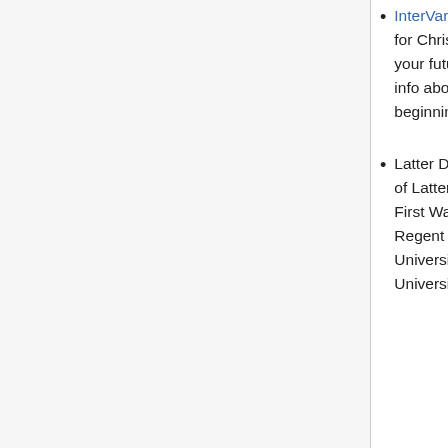InterVarsity Grad Christian Fellowship: It's a welcoming place for Christians and non-Christians alike. (You might even find your future husband/wife there) They also have a website with info about local churches. There is a new student picnic at the beginning of the fall semester.
Latter Day Saints: There are a number of Church of Jesus Christ of Latter-day Saints wards in the Madison area. The Madison First Ward covers areas closest to campus and meets at 4505 Regent Street, two blocks south of Hilldale Mall, at 9am. The University Ward serves single adults and meets at 1711 University Avenue at 10 am. The Madison Third Ward serves...